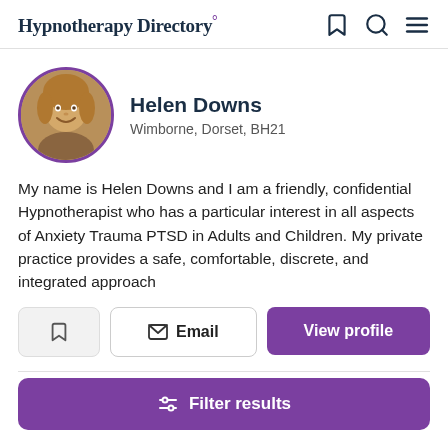Hypnotherapy Directory
Helen Downs
Wimborne, Dorset, BH21
My name is Helen Downs and I am a friendly, confidential Hypnotherapist who has a particular interest in all aspects of Anxiety Trauma PTSD in Adults and Children. My private practice provides a safe, comfortable, discrete, and integrated approach
Email
View profile
Filter results